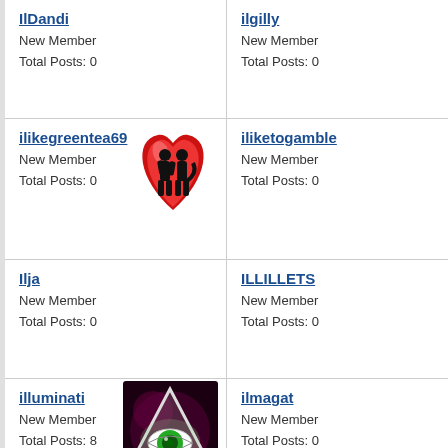IlDandi
New Member
Total Posts: 0
ilgilly
New Member
Total Posts: 0
ilikegreentea69
New Member
Total Posts: 0
[Figure (illustration): Red heart with black silhouette of two figures (avatar for ilikegreentea69)]
iliketogamble
New Member
Total Posts: 0
Ilja
New Member
Total Posts: 0
ILLILLETS
New Member
Total Posts: 0
illuminati
New Member
Total Posts: 8
[Figure (illustration): Illuminati triangle with eye symbol on dark background (avatar for illuminati)]
ilmagat
New Member
Total Posts: 0